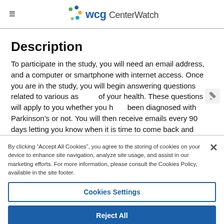WCG CenterWatch
Description
To participate in the study, you will need an email address, and a computer or smartphone with internet access. Once you are in the study, you will begin answering questions related to various aspects of your health. These questions will apply to you whether you have been diagnosed with Parkinson's or not. You will then receive emails every 90 days letting you know when it is time to come back and answer questions again. If you know someone with Parkinson's, you can help them answer PPMI questions, just make sure that you only
By clicking “Accept All Cookies”, you agree to the storing of cookies on your device to enhance site navigation, analyze site usage, and assist in our marketing efforts. For more information, please consult the Cookies Policy, available in the site footer.
Cookies Settings
Reject All
Accept All Cookies